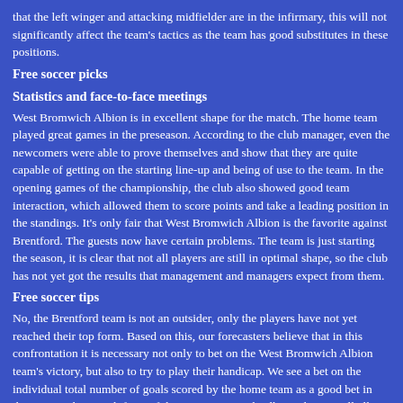that the left winger and attacking midfielder are in the infirmary, this will not significantly affect the team's tactics as the team has good substitutes in these positions.
Free soccer picks
Statistics and face-to-face meetings
West Bromwich Albion is in excellent shape for the match. The home team played great games in the preseason. According to the club manager, even the newcomers were able to prove themselves and show that they are quite capable of getting on the starting line-up and being of use to the team. In the opening games of the championship, the club also showed good team interaction, which allowed them to score points and take a leading position in the standings. It's only fair that West Bromwich Albion is the favorite against Brentford. The guests now have certain problems. The team is just starting the season, it is clear that not all players are still in optimal shape, so the club has not yet got the results that management and managers expect from them.
Free soccer tips
No, the Brentford team is not an outsider, only the players have not yet reached their top form. Based on this, our forecasters believe that in this confrontation it is necessary not only to bet on the West Bromwich Albion team's victory, but also to try to play their handicap. We see a bet on the individual total number of goals scored by the home team as a good bet in this game. The superb form of the West Bromwich Albion players will allow them to break the amount stated by the bookmakers, bringing the bettor a profit. Another good bet in this game is the total number of yellow cards. Both clubs never played properly and they were repeatedly warned in personal disputes.